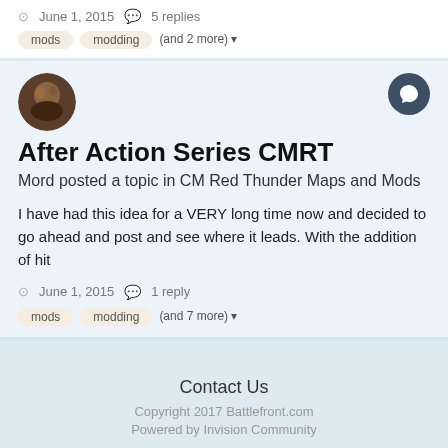June 1, 2015   5 replies
mods
modding
(and 2 more)
After Action Series CMRT
Mord posted a topic in CM Red Thunder Maps and Mods
I have had this idea for a VERY long time now and decided to go ahead and post and see where it leads. With the addition of hit
June 1, 2015   1 reply
mods
modding
(and 7 more)
Contact Us
Copyright 2017 Battlefront.com
Powered by Invision Community